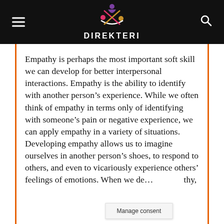DIREKTERI
Empathy is perhaps the most important soft skill we can develop for better interpersonal interactions. Empathy is the ability to identify with another person's experience. While we often think of empathy in terms only of identifying with someone's pain or negative experience, we can apply empathy in a variety of situations. Developing empathy allows us to imagine ourselves in another person's shoes, to respond to others, and even to vicariously experience others' feelings of emotions. When we de... thy,
Manage consent